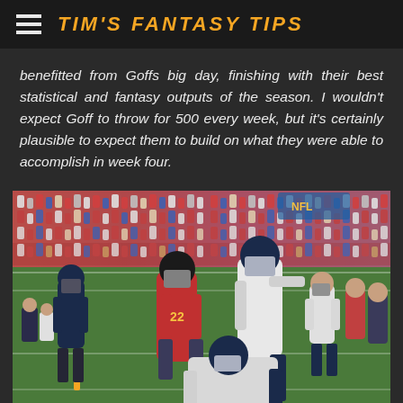TIM'S FANTASY TIPS
benefitted from Goffs big day, finishing with their best statistical and fantasy outputs of the season. I wouldn't expect Goff to throw for 500 every week, but it's certainly plausible to expect them to build on what they were able to accomplish in week four.
[Figure (photo): NFL football game action photo showing players in a tackle/collision near the end zone. A Tampa Bay Buccaneers player in red uniform is being tackled by Los Angeles Rams players in white/navy uniforms. Crowd visible in background.]